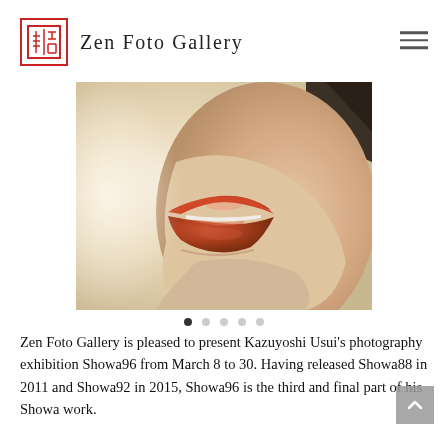Zen Foto Gallery
[Figure (photo): Close-up photograph of a woman's lips and lower face, warm golden-cream tones, lips colored coral/red-orange, partially open showing teeth, profile/three-quarter view]
Zen Foto Gallery is pleased to present Kazuyoshi Usui's photography exhibition Showa96 from March 8 to 30. Having released Showa88 in 2011 and Showa92 in 2015, Showa96 is the third and final part of his Showa work.